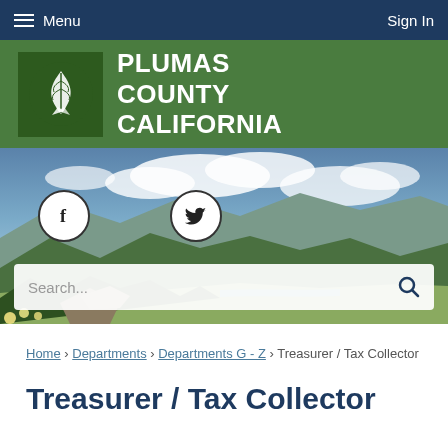Menu   Sign In
[Figure (logo): Plumas County California government website header with green banner, feather logo, and scenic mountain valley hero image with Facebook and Twitter social icons and search bar]
Home › Departments › Departments G - Z › Treasurer / Tax Collector
Treasurer / Tax Collector